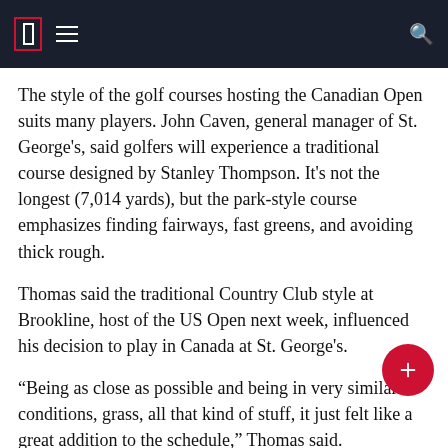The style of the golf courses hosting the Canadian Open suits many players. John Caven, general manager of St. George's, said golfers will experience a traditional course designed by Stanley Thompson. It's not the longest (7,014 yards), but the park-style course emphasizes finding fairways, fast greens, and avoiding thick rough.
Thomas said the traditional Country Club style at Brookline, host of the US Open next week, influenced his decision to play in Canada at St. George's.
“Being as close as possible and being in very similar conditions, grass, all that kind of stuff, it just felt like a great addition to the schedule,” Thomas said.
Lukas Weese